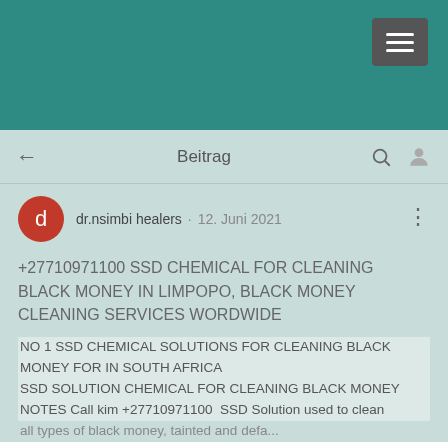[Figure (screenshot): Teal mobile app header bar with hamburger menu button in the top right corner]
Beitrag
dr.nsimbi healers · 12. Juni 2021
+27710971100 SSD CHEMICAL FOR CLEANING BLACK MONEY IN LIMPOPO, BLACK MONEY CLEANING SERVICES WORDWIDE
NO 1 SSD CHEMICAL SOLUTIONS FOR CLEANING BLACK MONEY FOR IN SOUTH AFRICA
SSD SOLUTION CHEMICAL FOR CLEANING BLACK MONEY NOTES Call kim +27710971100  SSD Solution used to clean all types of black money, tainted and defaced...